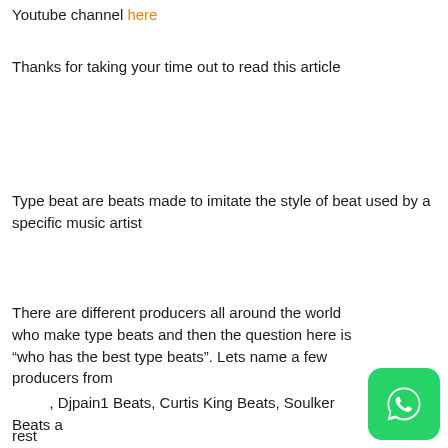Youtube channel here
Thanks for taking your time out to read this article
Type beat are beats made to imitate the style of beat used by a specific music artist
There are different producers all around the world who make type beats and then the question here is “who has the best type beats”. Lets name a few producers from        , Djpain1 Beats, Curtis King Beats, Soulker Beats a rest
[Figure (logo): WhatsApp green icon with phone handset symbol, rounded square shape]